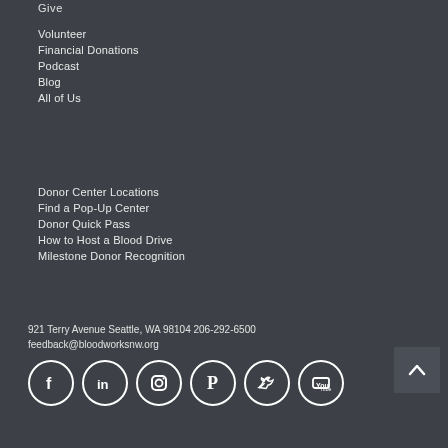Volunteer
Financial Donations
Podcast
Blog
All of Us
Donor Center Locations
Find a Pop-Up Center
Donor Quick Pass
How to Host a Blood Drive
Milestone Donor Recognition
921 Terry Avenue Seattle, WA 98104 206-292-6500
feedback@bloodworksnw.org
[Figure (other): Social media icons: Facebook, LinkedIn, Instagram, Pinterest, Twitter, YouTube]